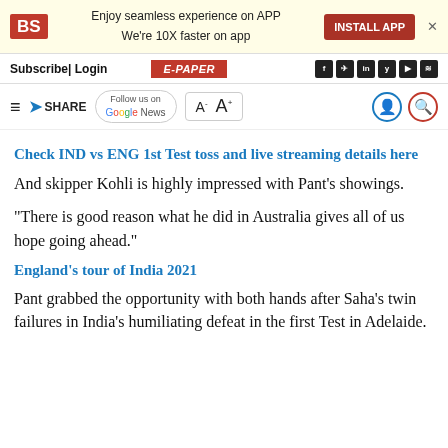BS | Enjoy seamless experience on APP We're 10X faster on app | INSTALL APP
Subscribe | Login | E-PAPER | f | in | y | rss
≡ ➤ SHARE | Follow us on Google News | A- A+ | user | search
Check IND vs ENG 1st Test toss and live streaming details here
And skipper Kohli is highly impressed with Pant's showings.
"There is good reason what he did in Australia gives all of us hope going ahead."
England's tour of India 2021
Pant grabbed the opportunity with both hands after Saha's twin failures in India's humiliating defeat in the first Test in Adelaide.